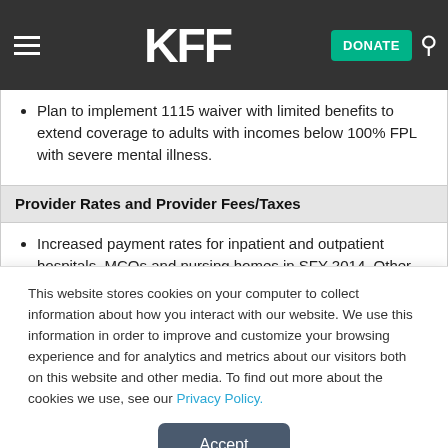KFF | DONATE
Plan to implement 1115 waiver with limited benefits to extend coverage to adults with incomes below 100% FPL with severe mental illness.
Provider Rates and Provider Fees/Taxes
Increased payment rates for inpatient and outpatient hospitals, MCOs and nursing homes in SFY 2014. Other rates were held flat.
This website stores cookies on your computer to collect information about how you interact with our website. We use this information in order to improve and customize your browsing experience and for analytics and metrics about our visitors both on this website and other media. To find out more about the cookies we use, see our Privacy Policy.